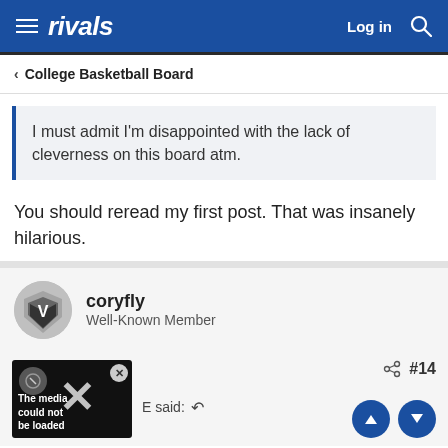rivals  Log in
< College Basketball Board
I must admit I'm disappointed with the lack of cleverness on this board atm.
You should reread my first post. That was insanely hilarious.
coryfly
Well-Known Member
E said: ↩  #14